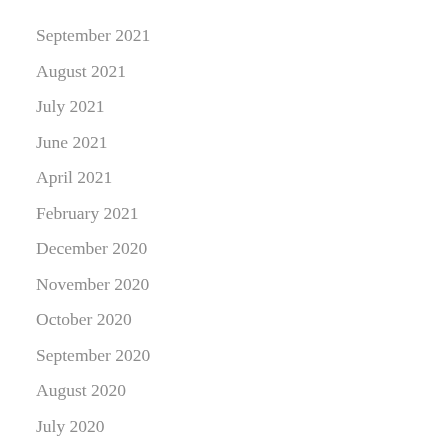September 2021
August 2021
July 2021
June 2021
April 2021
February 2021
December 2020
November 2020
October 2020
September 2020
August 2020
July 2020
June 2020
May 2020
April 2020
March 2020
January 2020